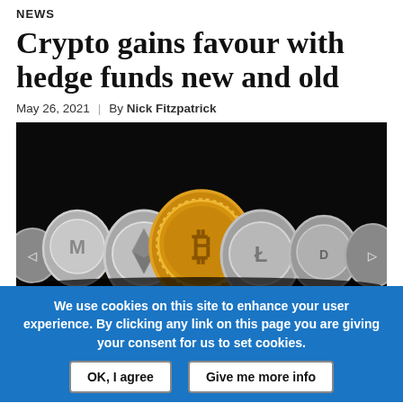NEWS
Crypto gains favour with hedge funds new and old
May 26, 2021 | By Nick Fitzpatrick
[Figure (photo): Row of cryptocurrency coins including Bitcoin (gold) in the center, flanked by silver altcoins (Monero, Ethereum, Litecoin, Dash, and others) against a dark background with warm golden glow]
We use cookies on this site to enhance your user experience. By clicking any link on this page you are giving your consent for us to set cookies.
OK, I agree    Give me more info